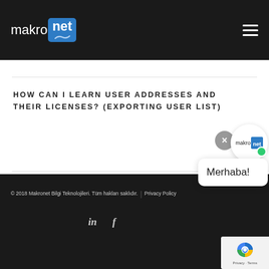[Figure (logo): Makronet logo: 'makro' in white text followed by 'net' in a blue rounded box with a wave/cloud icon below]
[Figure (other): Hamburger menu icon (three horizontal white lines) in the top right of the dark header]
HOW CAN I LEARN USER ADDRESSES AND THEIR LICENSES? (EXPORTING USER LIST)
[Figure (other): Chat widget overlay: close button (X in grey circle), Makronet logo bubble, green online dot, and 'Merhaba!' greeting message box]
© 2018 Makronet Bilgi Teknolojileri. Tüm hakları saklıdır. | Privacy Policy
[Figure (other): LinkedIn and Facebook social media icons in the footer]
[Figure (other): Google reCAPTCHA badge in lower right corner showing the reCAPTCHA logo and 'Privacy · Terms' text]